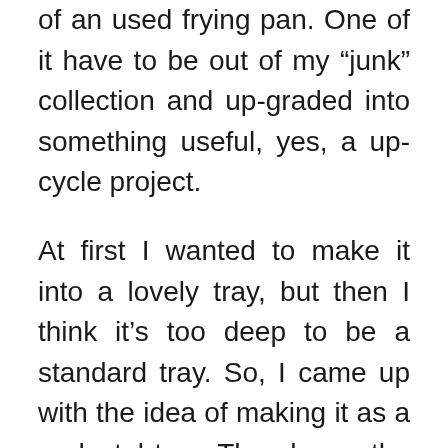of an used frying pan. One of it have to be out of my “junk” collection and upgraded into something useful, yes, a upcycle project.
At first I wanted to make it into a lovely tray, but then I think it’s too deep to be a standard tray. So, I came up with the idea of making it as a pedestal tray. The shape, the diameter and the depth of the frying pan does better as a pedestal tray. A super cheap pedestal tray, because I only need to buy a leg as the